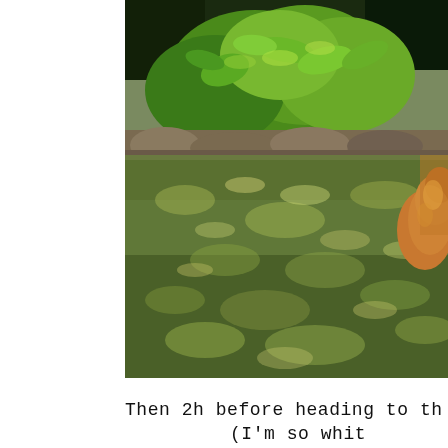[Figure (photo): Outdoor garden scene showing lush green leafy plants and shrubs in the background with a rocky border, and overgrown grass and weeds in the foreground. A golden/orange-colored dog or animal is partially visible at the right edge of the photo.]
Archive
Then 2h before heading to th
(I'm so whit